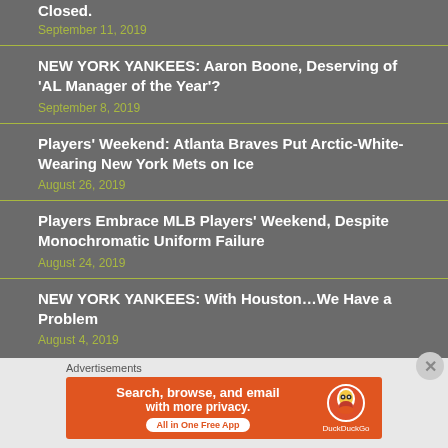Closed.
September 11, 2019
NEW YORK YANKEES: Aaron Boone, Deserving of 'AL Manager of the Year'?
September 8, 2019
Players' Weekend: Atlanta Braves Put Arctic-White-Wearing New York Mets on Ice
August 26, 2019
Players Embrace MLB Players' Weekend, Despite Monochromatic Uniform Failure
August 24, 2019
NEW YORK YANKEES: With Houston…We Have a Problem
August 4, 2019
Advertisements